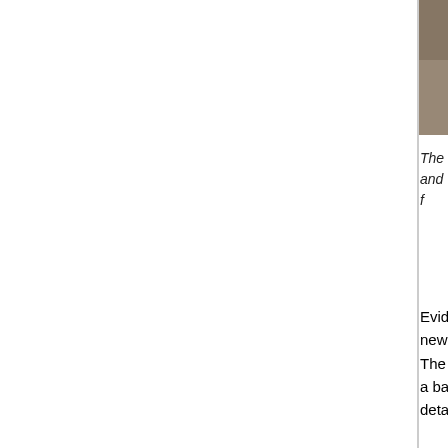[Figure (photo): Photograph of a well or stone surface, grainy texture, found at Carnarvon Primary School in 2002]
The well, found in 2002 at Carnarvon Primary S... and was probably a natural spring originally. Th... f...
Evidence of a possible Roman villa on the site o... new extensions in 2003 and 2008 yielded more i... The finds recovered include fragments of flue tile... a bath house, but the information on the site as a... details about this site can be seen by clicking he...
The Hinterland
Away from Margidunum the wide distribution of R... the available area of what is now the parish was... that have no sherds, which may indicate that the... Elsewhere, barren patches may have been wood...
The Iron Age settlements on Parson's Hill, Granb... Roman period. On Parson's Hill a Roman pottery... Iron Age scatter with only a little overlap and see... two small clusters of Roman pottery near Lower... enclosures side by side and a possible hut circle... pottery are present together in the same small fie...
The largest clusters of Roman pottery outside Ma... there is more Iron Age material than at any other... status, though no ceramic building material of li...